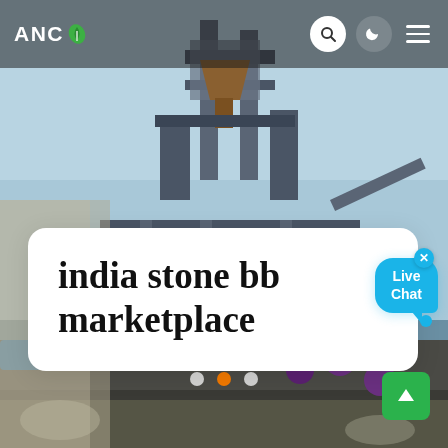[Figure (screenshot): Website screenshot of ANC marketplace page showing industrial machinery/conveyor equipment photo as background, with navigation bar containing ANC logo with leaf icon, search icon, dark mode icon, and hamburger menu. A white card overlay shows the title 'india stone bb marketplace'. A Live Chat bubble appears in upper right of card. Carousel dot indicators are visible at bottom center. A green scroll-to-top button appears at bottom right.]
ANC
india stone bb marketplace